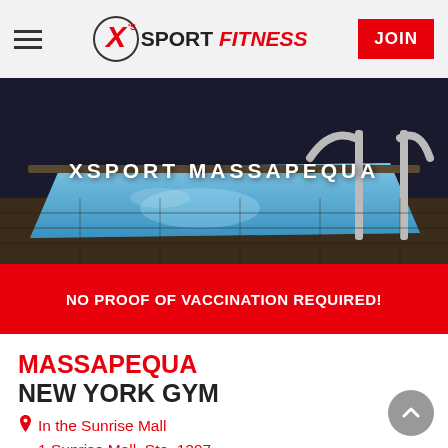XSport Fitness — Navigation bar with hamburger menu and JOIN button
[Figure (photo): Indoor pool/hot tub at night with tiled surround and metal handrails, dark background]
XSPORT MASSAPEQUA
NO PROOF OF VACCINATION REQUIRED!
MASSAPEQUA NEW YORK GYM
In the Sunrise Mall
1 Sunrise Mall, Ste. 1297
Massapequa, NY 11758
(516) 795-5100